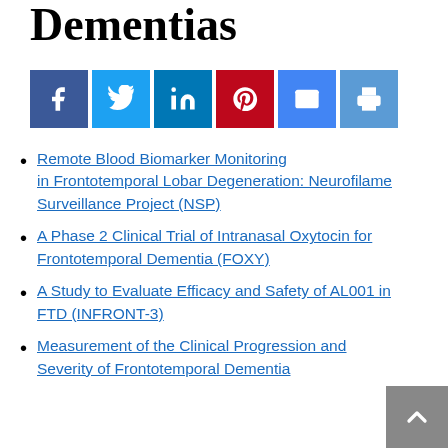Dementias
[Figure (other): Social media sharing buttons: Facebook, Twitter, LinkedIn, Pinterest, Email, Print]
Remote Blood Biomarker Monitoring in Frontotemporal Lobar Degeneration: Neurofilament Surveillance Project (NSP)
A Phase 2 Clinical Trial of Intranasal Oxytocin for Frontotemporal Dementia (FOXY)
A Study to Evaluate Efficacy and Safety of AL001 in FTD (INFRONT-3)
Measurement of the Clinical Progression and Severity of Frontotemporal Dementia